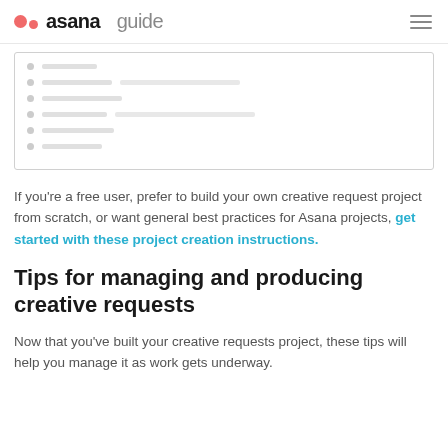asana guide
[Figure (screenshot): Screenshot of an Asana project interface showing a list of tasks with small circular icons and horizontal lines indicating task rows]
If you're a free user, prefer to build your own creative request project from scratch, or want general best practices for Asana projects, get started with these project creation instructions.
Tips for managing and producing creative requests
Now that you've built your creative requests project, these tips will help you manage it as work gets underway.